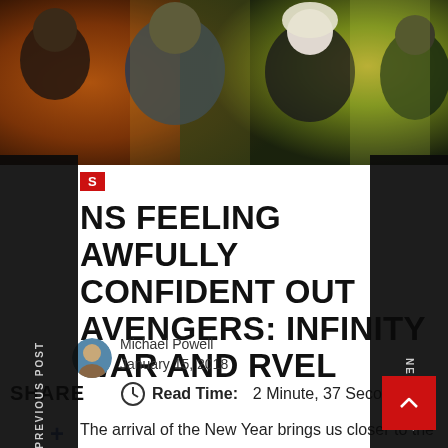[Figure (photo): Movie promotional image for Avengers: Infinity War showing multiple superhero characters including characters with dark skin, beard, and a blonde female character against dramatic colorful background]
S
NS FEELING AWFULLY CONFIDENT OUT AVENGERS: INFINITY WAR AND RVEL
Michael Powell
January 15, 2018
SHARE
Read Time: 2 Minute, 37 Second
The arrival of the New Year brings us closer to the release of the superhero team up we all have been